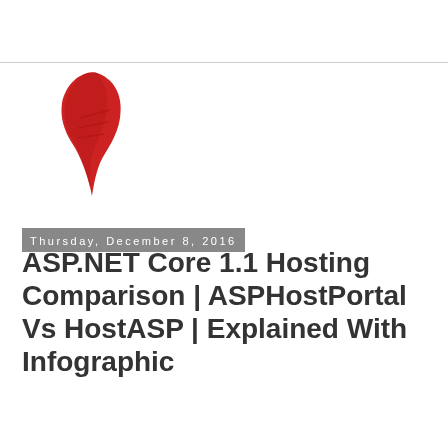[Figure (logo): Red stylized logo mark resembling a curved feather or checkmark shape in red/crimson color]
Thursday, December 8, 2016
ASP.NET Core 1.1 Hosting Comparison | ASPHostPortal Vs HostASP | Explained With Infographic
At the point when picking ASP.NET Core 1.1 hosting sites one must set aside a few minutes to pay special mind to ones that have been attempted and tried by different users. An incredible place to look is forums, discussing boards and review site to avert running into constant issues connected with hosting your ASP.NET Core 1.1 site.
By investing little energy to do this research you get the opportunity to spare time and your notoriety later on. On the off chance that the ASP.NET Core 1.1 hosting site is not